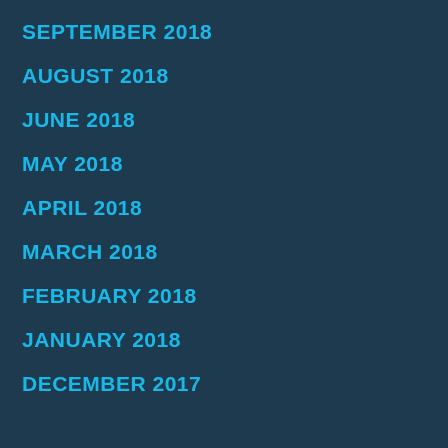SEPTEMBER 2018
AUGUST 2018
JUNE 2018
MAY 2018
APRIL 2018
MARCH 2018
FEBRUARY 2018
JANUARY 2018
DECEMBER 2017